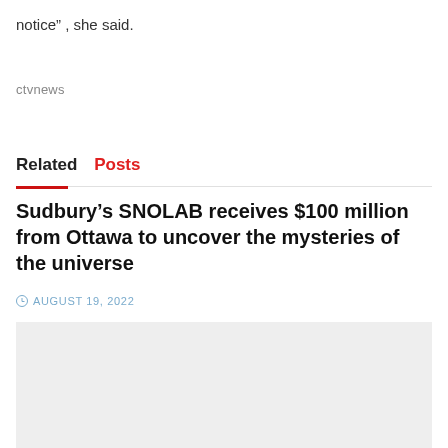notice” , she said.
ctvnews
Related Posts
Sudbury’s SNOLAB receives $100 million from Ottawa to uncover the mysteries of the universe
AUGUST 19, 2022
[Figure (photo): Gray placeholder image for article thumbnail]